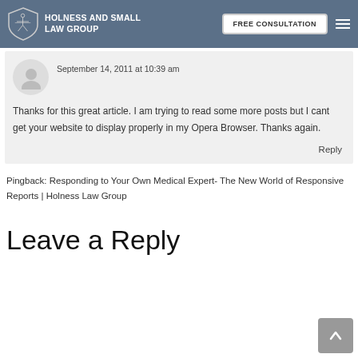HOLNESS AND SMALL LAW GROUP | FREE CONSULTATION
September 14, 2011 at 10:39 am
Thanks for this great article. I am trying to read some more posts but I cant get your website to display properly in my Opera Browser. Thanks again.
Reply
Pingback: Responding to Your Own Medical Expert- The New World of Responsive Reports | Holness Law Group
Leave a Reply